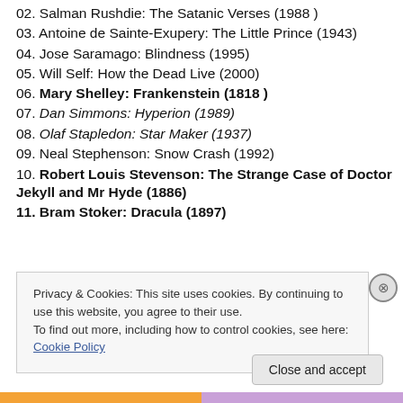02. Salman Rushdie: The Satanic Verses (1988 )
03. Antoine de Sainte-Exupery: The Little Prince (1943)
04. Jose Saramago: Blindness (1995)
05. Will Self: How the Dead Live (2000)
06. Mary Shelley: Frankenstein (1818 )
07. Dan Simmons: Hyperion (1989)
08. Olaf Stapledon: Star Maker (1937)
09. Neal Stephenson: Snow Crash (1992)
10. Robert Louis Stevenson: The Strange Case of Doctor Jekyll and Mr Hyde (1886)
11. Bram Stoker: Dracula (1897)
Privacy & Cookies: This site uses cookies. By continuing to use this website, you agree to their use.
To find out more, including how to control cookies, see here: Cookie Policy
Close and accept